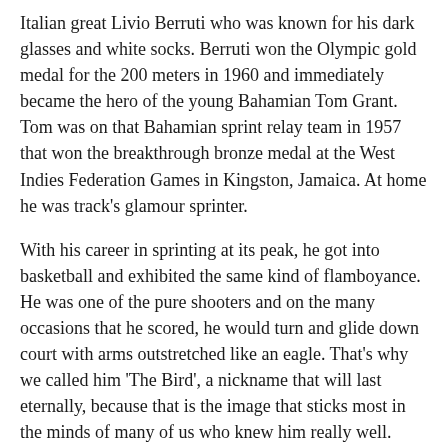Italian great Livio Berruti who was known for his dark glasses and white socks. Berruti won the Olympic gold medal for the 200 meters in 1960 and immediately became the hero of the young Bahamian Tom Grant. Tom was on that Bahamian sprint relay team in 1957 that won the breakthrough bronze medal at the West Indies Federation Games in Kingston, Jamaica. At home he was track's glamour sprinter.
With his career in sprinting at its peak, he got into basketball and exhibited the same kind of flamboyance. He was one of the pure shooters and on the many occasions that he scored, he would turn and glide down court with arms outstretched like an eagle. That's why we called him 'The Bird', a nickname that will last eternally, because that is the image that sticks most in the minds of many of us who knew him really well.
In volleyball, as a player and administrator, he revolutionized the sport and paved the way for the glorious era that was headed by Dr. Norman Gay.  In rugby, he was conscious always